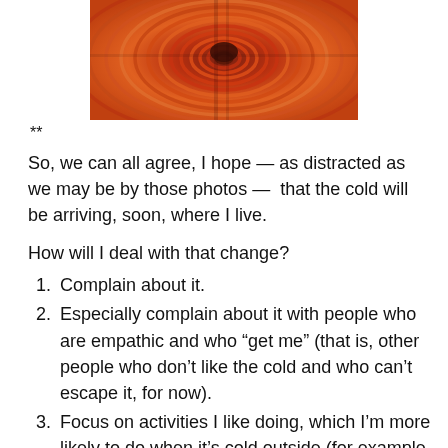[Figure (photo): Close-up photo of concentric orange/red spiral coils, possibly a coiled cable or decorative object, with a dark center.]
**
So, we can all agree, I hope — as distracted as we may be by those photos —  that the cold will be arriving, soon, where I live.
How will I deal with that change?
Complain about it.
Especially complain about it with people who are empathic and who “get me” (that is, other people who don’t like the cold and who can’t escape it, for now).
Focus on activities I like doing, which I’m more likely to do when it’s cold outside (for example, watching